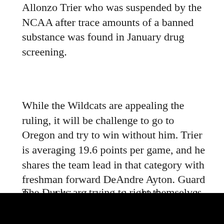Allonzo Trier who was suspended by the NCAA after trace amounts of a banned substance was found in January drug screening.
While the Wildcats are appealing the ruling, it will be challenge to go to Oregon and try to win without him. Trier is averaging 19.6 points per game, and he shares the team lead in that category with freshman forward DeAndre Ayton. Guard Rawle Alkins is averaging 13.6 ppg and he will likely play a bigger role without Trier in the lineup.
The Ducks are trying to right themselves after losing back-to-back games to USC and UCLA, but they are coming off a 75-68 home victory over Arizona State.